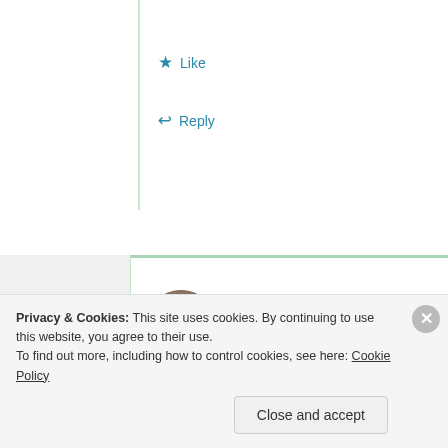Like
Reply
foodbuglady
July 23, 2012 at 9:56 am
According to the company, Excedrin will not ship until the 4th quarter –
Privacy & Cookies: This site uses cookies. By continuing to use this website, you agree to their use.
To find out more, including how to control cookies, see here: Cookie Policy
Close and accept